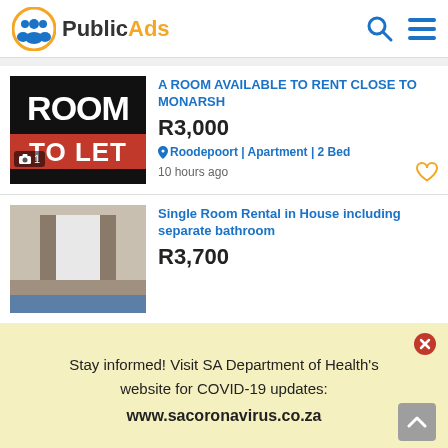PublicAds
[Figure (screenshot): Listing thumbnail: black background with white text ROOM and red text TO LET, photo count badge showing camera icon and 1]
A ROOM AVAILABLE TO RENT CLOSE TO MONARSH
R3,000
Roodepoort | Apartment | 2 Bed
10 hours ago
[Figure (photo): Interior photo of a room with window and curtains]
Single Room Rental in House including separate bathroom
R3,700
Stay informed! Visit SA Department of Health's website for COVID-19 updates:
www.sacoronavirus.co.za